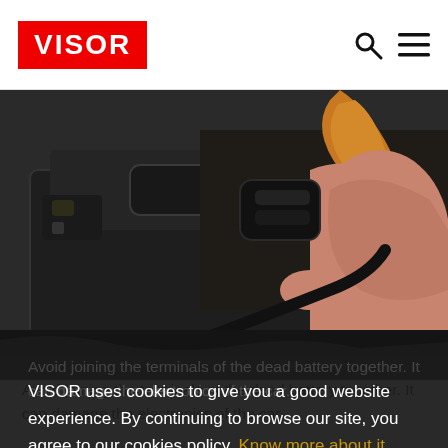VISOR
[Figure (photo): Close-up photo of a hand connecting jumper cable clamps to a car battery terminal, showing black battery and copper/orange cable clamp being attached]
Avoid joining the terminals of the dead battery together. It can damage the electronics of the car.
On the stalled vehicle, attach the red clamp on the positive terminal (colored red) of the dead battery first. It should sit securely, resting on a
VISOR uses cookies to give you a good website experience. By continuing to browse our site, you agree to our cookies policy. Know more about it here.
I AGREE